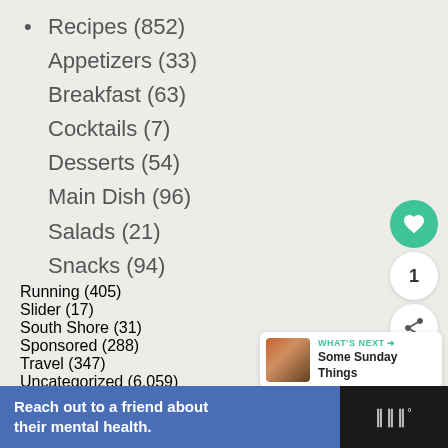Recipes (852)
Appetizers (33)
Breakfast (63)
Cocktails (7)
Desserts (54)
Main Dish (96)
Salads (21)
Snacks (94)
Running (405)
Slider (17)
South Shore (31)
Sponsored (288)
Travel (347)
Uncategorized (6,059)
Video (12)
Weddings (61)
Weekly Meal Plans (89)
WHAT'S NEXT → Some Sunday Things
Reach out to a friend about their mental health.